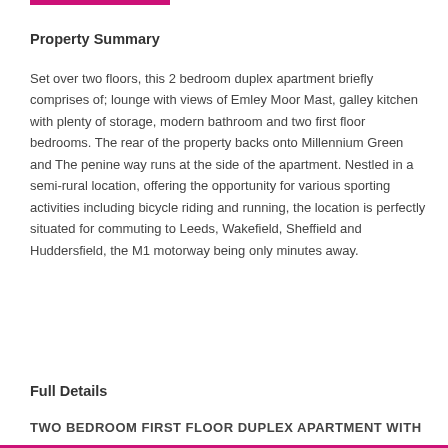Property Summary
Set over two floors, this 2 bedroom duplex apartment briefly comprises of; lounge with views of Emley Moor Mast, galley kitchen with plenty of storage, modern bathroom and two first floor bedrooms. The rear of the property backs onto Millennium Green and The penine way runs at the side of the apartment. Nestled in a semi-rural location, offering the opportunity for various sporting activities including bicycle riding and running, the location is perfectly situated for commuting to Leeds, Wakefield, Sheffield and Huddersfield, the M1 motorway being only minutes away.
Full Details
TWO BEDROOM FIRST FLOOR DUPLEX APARTMENT WITH